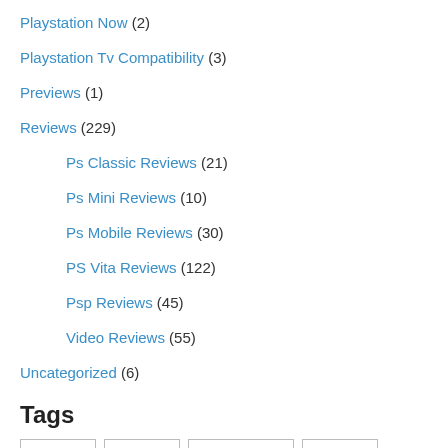Playstation Now (2)
Playstation Tv Compatibility (3)
Previews (1)
Reviews (229)
Ps Classic Reviews (21)
Ps Mini Reviews (10)
Ps Mobile Reviews (30)
PS Vita Reviews (122)
Psp Reviews (45)
Video Reviews (55)
Uncategorized (6)
Tags
Anime
App
App Review
Capcom